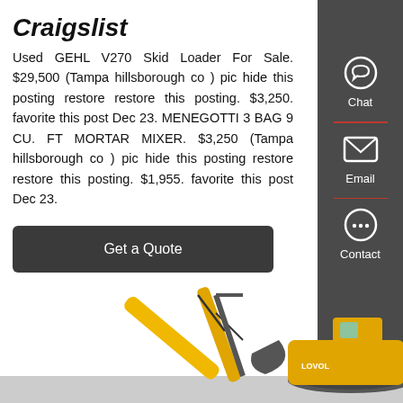Craigslist
Used GEHL V270 Skid Loader For Sale. $29,500 (Tampa hillsborough co ) pic hide this posting restore restore this posting. $3,250. favorite this post Dec 23. MENEGOTTI 3 BAG 9 CU. FT MORTAR MIXER. $3,250 (Tampa hillsborough co ) pic hide this posting restore restore this posting. $1,955. favorite this post Dec 23.
Get a Quote
[Figure (photo): Yellow excavator (Lovol brand) against white background, lower portion of the page]
[Figure (infographic): Dark sidebar panel on the right with Chat (speech bubble icon), Email (envelope icon), and Contact (dots speech bubble icon) buttons separated by red dividers]